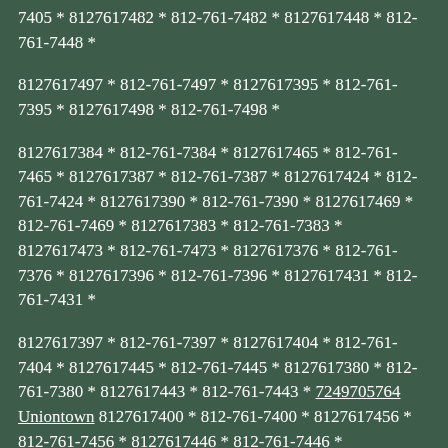7405 * 8127617482 * 812-761-7482 * 8127617448 * 812-761-7448 *
8127617497 * 812-761-7497 * 8127617395 * 812-761-7395 * 8127617498 * 812-761-7498 *
8127617384 * 812-761-7384 * 8127617465 * 812-761-7465 * 8127617387 * 812-761-7387 * 8127617424 * 812-761-7424 * 8127617390 * 812-761-7390 * 8127617469 * 812-761-7469 * 8127617383 * 812-761-7383 * 8127617473 * 812-761-7473 * 8127617376 * 812-761-7376 * 8127617396 * 812-761-7396 * 8127617431 * 812-761-7431 *
8127617397 * 812-761-7397 * 8127617404 * 812-761-7404 * 8127617445 * 812-761-7445 * 8127617380 * 812-761-7380 * 8127617443 * 812-761-7443 * 7249705764 Uniontown 8127617400 * 812-761-7400 * 8127617456 * 812-761-7456 * 8127617446 * 812-761-7446 * 8127617479 * 812-761-7479 * 8127617382 * 812-761-7382 * 8127617398 * 812-761-7398 * 8127617416 * 812-761-7416 * 8127617481 * 812-761-7481 * 8127617463 * 812-761-7463 * 8127617472 * 812-761-7472 *